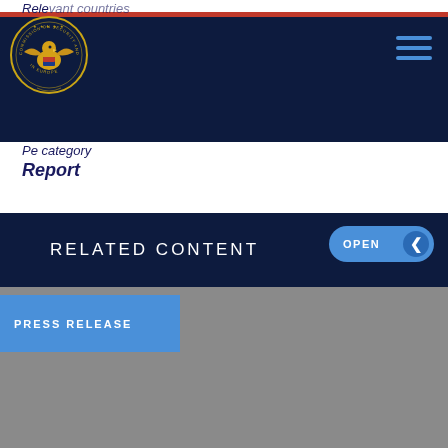Relevant countries
[Figure (logo): Commission on Security and Cooperation in Europe seal/logo, gold eagle on dark navy background]
category
Report
RELATED CONTENT
PRESS RELEASE